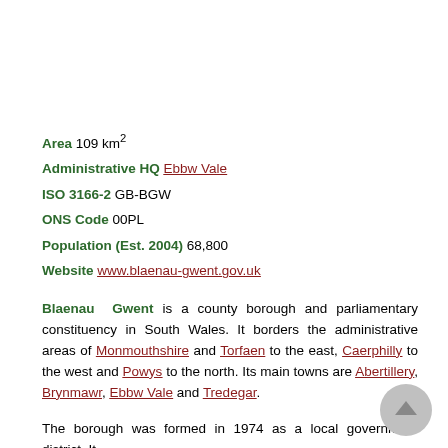Area 109 km²
Administrative HQ Ebbw Vale
ISO 3166-2 GB-BGW
ONS Code 00PL
Population (Est. 2004) 68,800
Website www.blaenau-gwent.gov.uk
Blaenau Gwent is a county borough and parliamentary constituency in South Wales. It borders the administrative areas of Monmouthshire and Torfaen to the east, Caerphilly to the west and Powys to the north. Its main towns are Abertillery, Brynmawr, Ebbw Vale and Tredegar.
The borough was formed in 1974 as a local government district. It